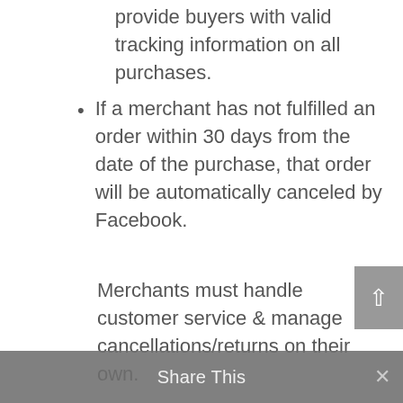provide buyers with valid tracking information on all purchases.
If a merchant has not fulfilled an order within 30 days from the date of the purchase, that order will be automatically canceled by Facebook.
Merchants must handle customer service & manage cancellations/returns on their own.
Commission Structure
Facebook and Instagram will collect a commission on every order that has gone through Checkout.
Share This